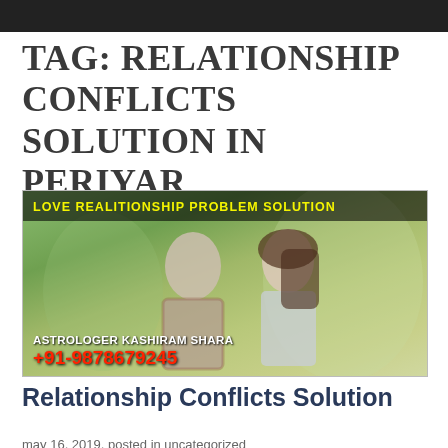TAG: RELATIONSHIP CONFLICTS SOLUTION IN PERIYAR
[Figure (photo): Banner image showing a young couple smiling at each other outdoors, with text overlay 'LOVE REALITIONSHIP PROBLEM SOLUTION' at top and 'ASTROLOGER KASHIRAM SHARA +91-9878679245' at bottom]
Relationship Conflicts Solution
may 16, 2019, posted in uncategorized